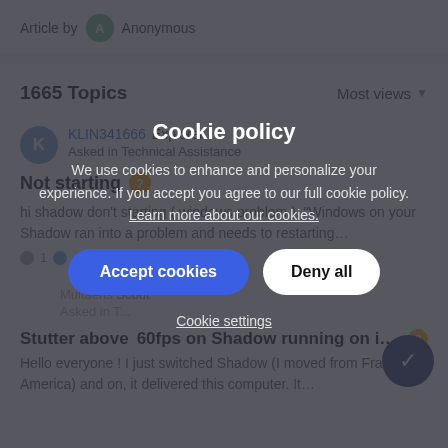Article by   Anonymous
1665 Topics    Most views
KLIN341666 Explorer
Asked in Technical Assistance
Not starting
hi shadow don't starting ( windows problem ). "Windows on your Shadow ran into a problem and needs to restarting…
4 months ago
Multaens Scout
Asked in Technical Assistance
Stutter above 60fps on Shadow running on intel graphics
Hello everyone ! I just switched Shadow (I moved from France to America) and on, it delivered this computer. It…
[Figure (screenshot): Cookie policy dialog overlay with dark semi-transparent background. Title: 'Cookie policy'. Body text: 'We use cookies to enhance and personalize your experience. If you accept you agree to our full cookie policy. Learn more about our cookies.' Two buttons: 'Accept cookies' (blue rounded) and 'Deny all' (white rounded). Link below: 'Cookie settings'.]